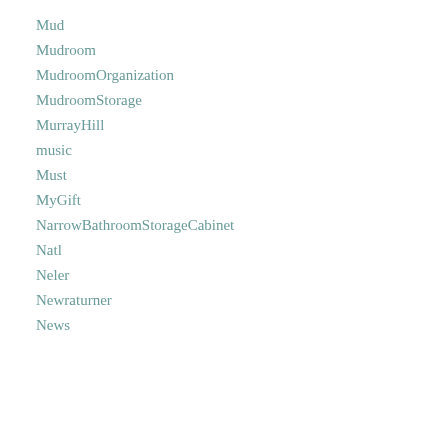Mud
Mudroom
MudroomOrganization
MudroomStorage
MurrayHill
music
Must
MyGift
NarrowBathroomStorageCabinet
Natl
Neler
Newraturner
News